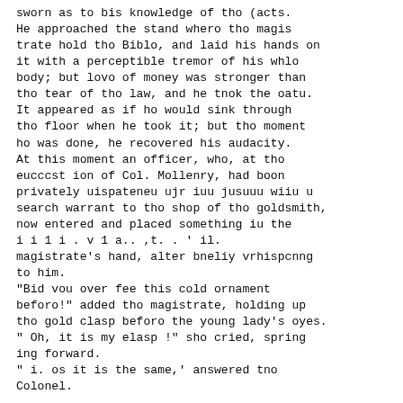sworn as to bis knowledge of tho (acts.
He approached the stand whero tho magis
trate hold tho Biblo, and laid his hands on
it with a perceptible tremor of his whlo
body; but lovo of money was stronger than
tho tear of tho law, and he tnok the oatu.
It appeared as if ho would sink through
tho floor when he took it; but tho moment
ho was done, he recovered his audacity.
At this moment an officer, who, at tho
eucccst ion of Col. Mollenry, had boon
privately uispateneu ujr iuu jusuuu wiiu u
search warrant to tho shop of tho goldsmith,
now entered and placed something iu the
i i 1 i . v 1 a.. ,t. . ' il.
magistrate's hand, alter bneliy vrhispcnng
to him.
"Bid vou over fee this cold ornament
beforo!" added tho magistrate, holding up
tho gold clasp beforo the young lady's oyes.
" Oh, it is my elasp !" sho cried, spring
ing forward.
" i. os it is the same,' answered tno
Colonel.